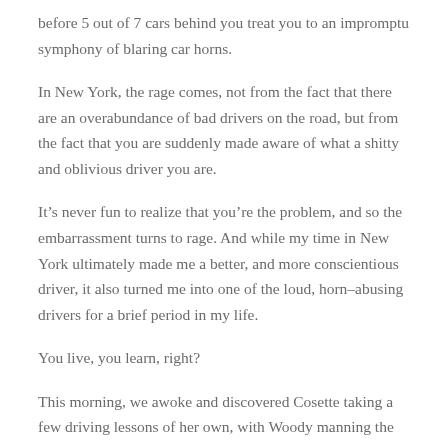before 5 out of 7 cars behind you treat you to an impromptu symphony of blaring car horns.
In New York, the rage comes, not from the fact that there are an overabundance of bad drivers on the road, but from the fact that you are suddenly made aware of what a shitty and oblivious driver you are.
It’s never fun to realize that you’re the problem, and so the embarrassment turns to rage. And while my time in New York ultimately made me a better, and more conscientious driver, it also turned me into one of the loud, horn–abusing drivers for a brief period in my life.
You live, you learn, right?
This morning, we awoke and discovered Cosette taking a few driving lessons of her own, with Woody manning the controls. Cadence